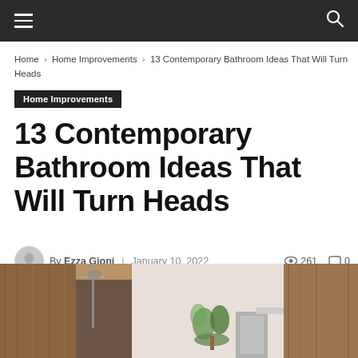☰  [navigation]  🔍
Home › Home Improvements › 13 Contemporary Bathroom Ideas That Will Turn Heads
Home Improvements
13 Contemporary Bathroom Ideas That Will Turn Heads
By Ezza Gioni  January 10, 2022  👁 261  💬 0
[Figure (screenshot): Social share buttons: share icon, Facebook, Twitter, Pinterest, WhatsApp]
[Figure (photo): Contemporary bathroom interior with wood-paneled walls, shower fixtures, and green plant]